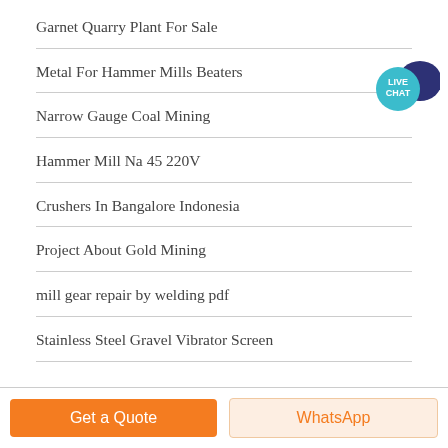Garnet Quarry Plant For Sale
Metal For Hammer Mills Beaters
Narrow Gauge Coal Mining
Hammer Mill Na 45 220V
Crushers In Bangalore Indonesia
Project About Gold Mining
mill gear repair by welding pdf
Stainless Steel Gravel Vibrator Screen